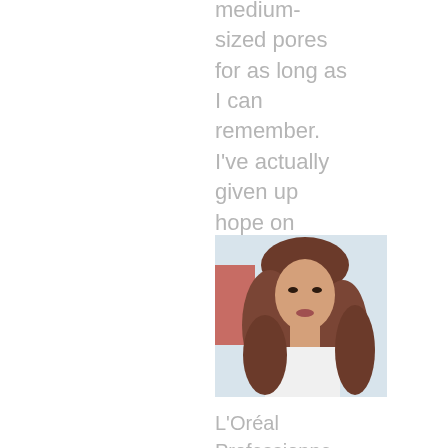medium-sized pores for as long as I can remember. I've actually given up hope on ever having a smooth comple...
[Figure (photo): Portrait photo of a woman with medium-length wavy brown hair, facing slightly to the side, with a bright background]
L'Oréal Professionnel Majirel Cool Cover
Three weeks, six hair washes,